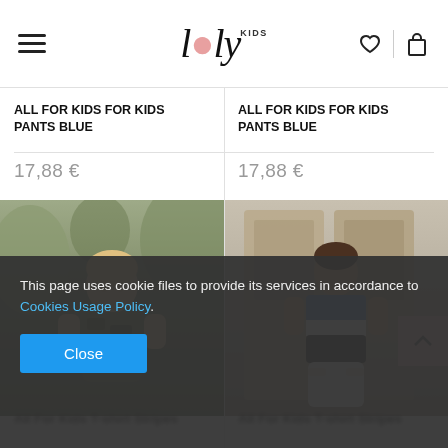lily KIDS — navigation header with hamburger menu, logo, heart icon, and cart icon
ALL FOR KIDS FOR KIDS PANTS BLUE
17,88 €
ALL FOR KIDS FOR KIDS PANTS BLUE
17,88 €
[Figure (photo): Boy wearing camouflage t-shirt outdoors near trees]
[Figure (photo): Boy wearing blue, white, and black striped t-shirt with white shorts, standing near wooden doors]
All For Kids T-shirt Stripes
All For Kids T-shirt Stripes
This page uses cookie files to provide its services in accordance to Cookies Usage Policy.
Close